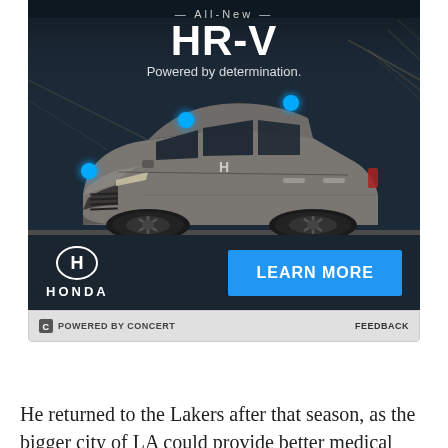[Figure (advertisement): Honda HR-V advertisement showing an All-New HR-V SUV driving through a tunnel at speed with blue interactive hotspot dots, Honda logo and LEARN MORE button, tagline 'Powered by determination.']
POWERED BY CONCERT    FEEDBACK
He returned to the Lakers after that season, as the bigger city of LA could provide better medical care for